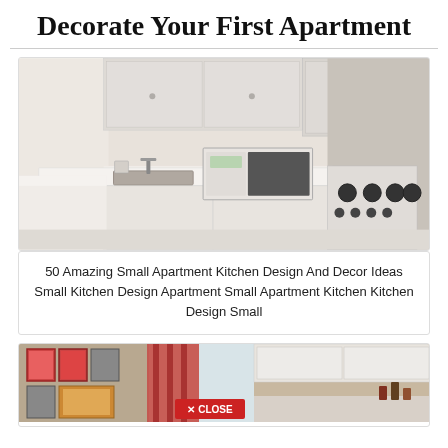Decorate Your First Apartment
[Figure (photo): Small apartment kitchen with white cabinets, microwave, stove, and sink on white countertop]
50 Amazing Small Apartment Kitchen Design And Decor Ideas Small Kitchen Design Apartment Small Apartment Kitchen Kitchen Design Small
[Figure (photo): Colorful apartment interior with gallery wall of framed art, decorative curtains, and kitchen area visible]